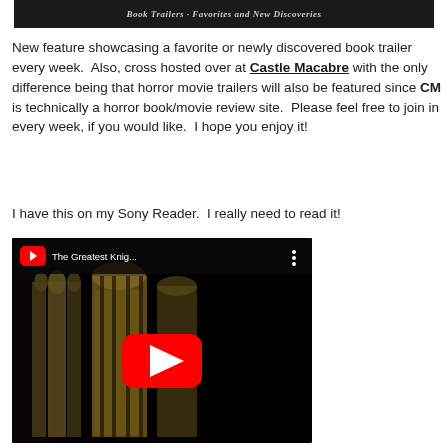[Figure (screenshot): Dark banner image for Book Trailers: Favorites and New Discoveries]
New feature showcasing a favorite or newly discovered book trailer every week.  Also, cross hosted over at Castle Macabre with the only difference being that horror movie trailers will also be featured since CM is technically a horror book/movie review site.  Please feel free to join in every week, if you would like.  I hope you enjoy it!
I have this on my Sony Reader.  I really need to read it!
[Figure (screenshot): YouTube embedded video player showing 'The Greatest Knig...' with a church interior thumbnail and red play button]